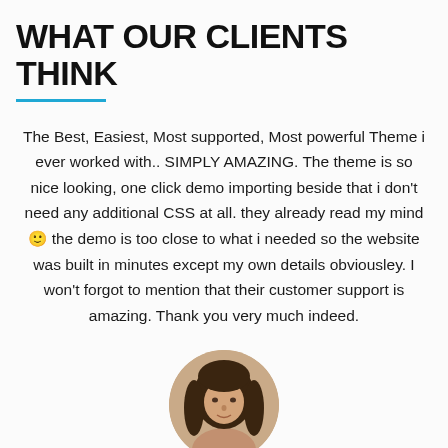WHAT OUR CLIENTS THINK
The Best, Easiest, Most supported, Most powerful Theme i ever worked with.. SIMPLY AMAZING. The theme is so nice looking, one click demo importing beside that i don't need any additional CSS at all. they already read my mind 🙂 the demo is too close to what i needed so the website was built in minutes except my own details obviousley. I won't forgot to mention that their customer support is amazing. Thank you very much indeed.
[Figure (photo): Circular portrait photo of a woman with long dark hair, cropped at the bottom of the page]